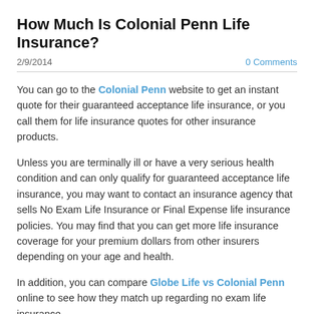How Much Is Colonial Penn Life Insurance?
2/9/2014    0 Comments
You can go to the Colonial Penn website to get an instant quote for their guaranteed acceptance life insurance, or you call them for life insurance quotes for other insurance products.
Unless you are terminally ill or have a very serious health condition and can only qualify for guaranteed acceptance life insurance, you may want to contact an insurance agency that sells No Exam Life Insurance or Final Expense life insurance policies. You may find that you can get more life insurance coverage for your premium dollars from other insurers depending on your age and health.
In addition, you can compare Globe Life vs Colonial Penn online to see how they match up regarding no exam life insurance.